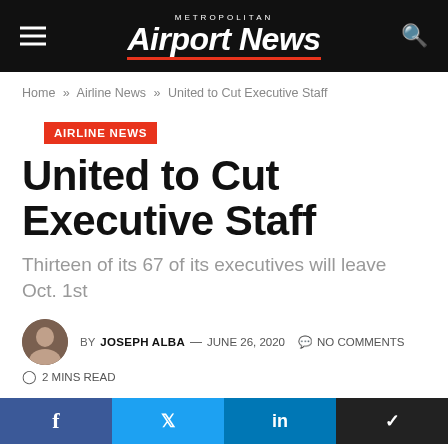Metropolitan Airport News
Home » Airline News » United to Cut Executive Staff
AIRLINE NEWS
United to Cut Executive Staff
Thirteen of its 67 of its executives will leave Oct. 1st
BY JOSEPH ALBA — JUNE 26, 2020   NO COMMENTS
2 MINS READ